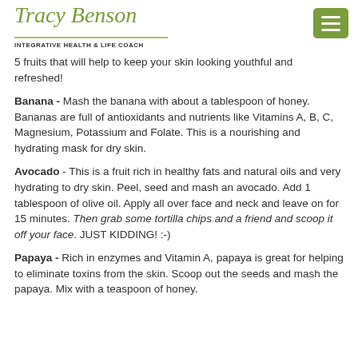Tracy Benson
INTEGRATIVE HEALTH & LIFE COACH
5 fruits that will help to keep your skin looking youthful and refreshed!
Banana - Mash the banana with about a tablespoon of honey. Bananas are full of antioxidants and nutrients like Vitamins A, B, C, Magnesium, Potassium and Folate. This is a nourishing and hydrating mask for dry skin.
Avocado - This is a fruit rich in healthy fats and natural oils and very hydrating to dry skin. Peel, seed and mash an avocado. Add 1 tablespoon of olive oil. Apply all over face and neck and leave on for 15 minutes. Then grab some tortilla chips and a friend and scoop it off your face. JUST KIDDING! :-)
Papaya - Rich in enzymes and Vitamin A, papaya is great for helping to eliminate toxins from the skin. Scoop out the seeds and mash the papaya. Mix with a teaspoon of honey.